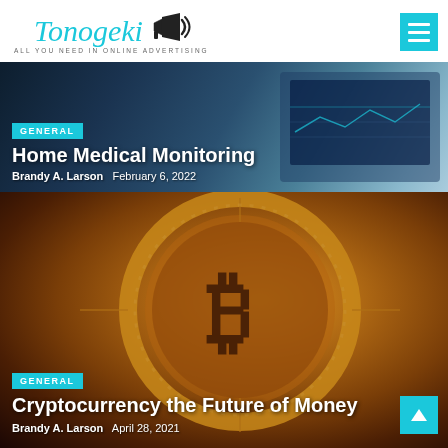Tonogeki — ALL YOU NEED IN ONLINE ADVERTISING
[Figure (photo): Article card with background image of medical monitoring equipment (blue-tinted). Shows category tag 'GENERAL', article title 'Home Medical Monitoring', author 'Brandy A. Larson' and date 'February 6, 2022']
Home Medical Monitoring
Brandy A. Larson   February 6, 2022
[Figure (photo): Article card with background image of a gold/bronze Bitcoin coin close-up. Shows category tag 'GENERAL', article title 'Cryptocurrency the Future of Money', author 'Brandy A. Larson' and date 'April 28, 2021']
Cryptocurrency the Future of Money
Brandy A. Larson   April 28, 2021